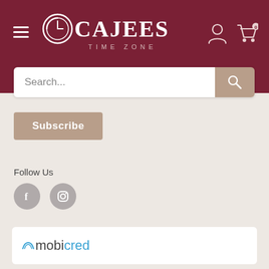[Figure (screenshot): Cajees Time Zone website header with dark red/maroon background, hamburger menu icon on left, Cajees Time Zone logo in center, user account and cart icons on right, search bar below]
Subscribe
Follow Us
[Figure (logo): Facebook and Instagram social media icons as grey circles]
[Figure (logo): Mobicred payment logo in white panel at bottom]